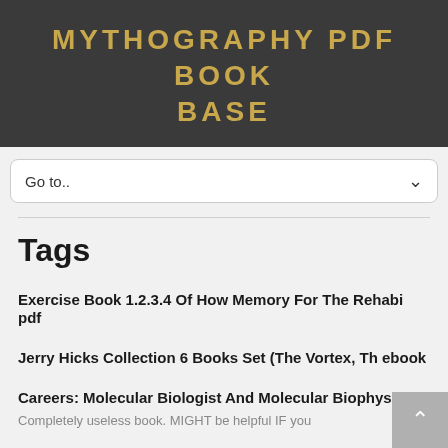MYTHOGRAPHY PDF BOOK BASE
Go to..
Tags
Exercise Book 1.2.3.4 Of How Memory For The Rehabi pdf
Jerry Hicks Collection 6 Books Set (The Vortex, Th ebook
Careers: Molecular Biologist And Molecular Biophys pdf
Completely useless book. MIGHT be helpful IF you